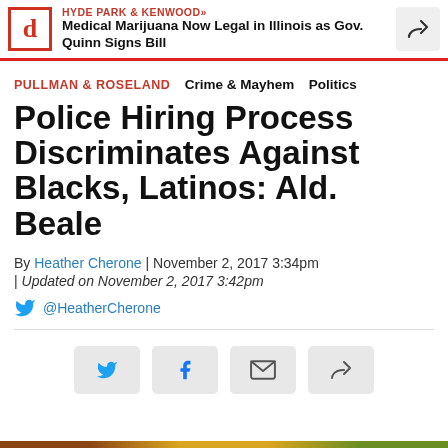HYDE PARK & KENWOOD» Medical Marijuana Now Legal in Illinois as Gov. Quinn Signs Bill
PULLMAN & ROSELAND  Crime & Mayhem  Politics
Police Hiring Process Discriminates Against Blacks, Latinos: Ald. Beale
By Heather Cherone | November 2, 2017 3:34pm
| Updated on November 2, 2017 3:42pm
@HeatherCherone
[Figure (infographic): Social share buttons row: Twitter, Facebook, Email, Share icons in gray rounded rectangle buttons]